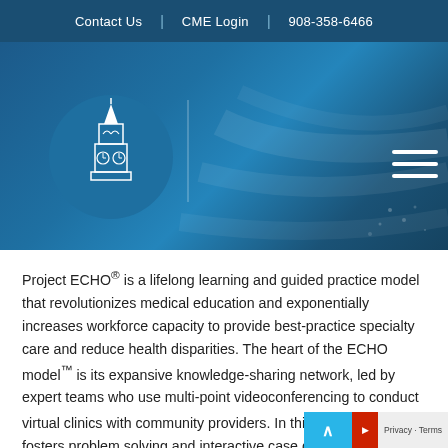Contact Us | CME Login | 908-358-6466
[Figure (logo): Project ECHO website header with a church/building icon in a circular blue logo, vertical divider line, decorative background curves, and hamburger menu icon on a dark blue background]
Project ECHO® is a lifelong learning and guided practice model that revolutionizes medical education and exponentially increases workforce capacity to provide best-practice specialty care and reduce health disparities. The heart of the ECHO model™ is its expansive knowledge-sharing network, led by expert teams who use multi-point videoconferencing to conduct virtual clinics with community providers. In this way, ECHO® fosters problem solving and interactive case discussion among doctors, nurses, and other clinicians, imparting invaluable